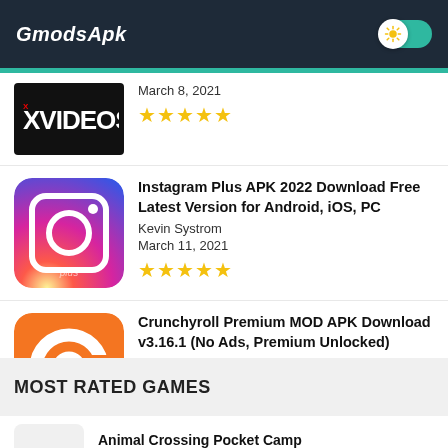GmodsApk
March 8, 2021 ★★★★★
Instagram Plus APK 2022 Download Free Latest Version for Android, iOS, PC
Kevin Systrom
March 11, 2021
★★★★★
Crunchyroll Premium MOD APK Download v3.16.1 (No Ads, Premium Unlocked)
Sony
April 22, 2021
★★★★★
MOST RATED GAMES
Animal Crossing Pocket Camp